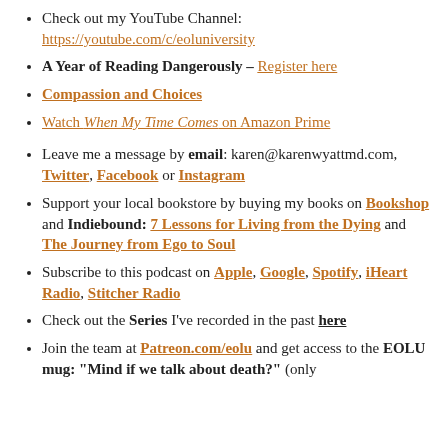Check out my YouTube Channel: https://youtube.com/c/eoluniversity
A Year of Reading Dangerously – Register here
Compassion and Choices
Watch When My Time Comes on Amazon Prime
Leave me a message by email: karen@karenwyattmd.com, Twitter, Facebook or Instagram
Support your local bookstore by buying my books on Bookshop and Indiebound: 7 Lessons for Living from the Dying and The Journey from Ego to Soul
Subscribe to this podcast on Apple, Google, Spotify, iHeart Radio, Stitcher Radio
Check out the Series I've recorded in the past here
Join the team at Patreon.com/eolu and get access to the EOLU mug: "Mind if we talk about death?" (only